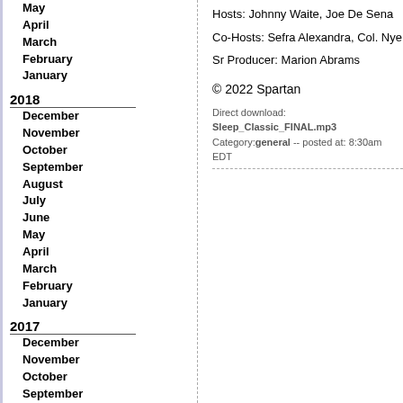May
April
March
February
January
2018
December
November
October
September
August
July
June
May
April
March
February
January
2017
December
November
October
September
August
July
June
May
April
March
February
January
Hosts: Johnny Waite, Joe De Sena
Co-Hosts: Sefra Alexandra, Col. Nye
Sr Producer: Marion Abrams
© 2022 Spartan
Direct download: Sleep_Classic_FINAL.mp3 Category:general -- posted at: 8:30am EDT